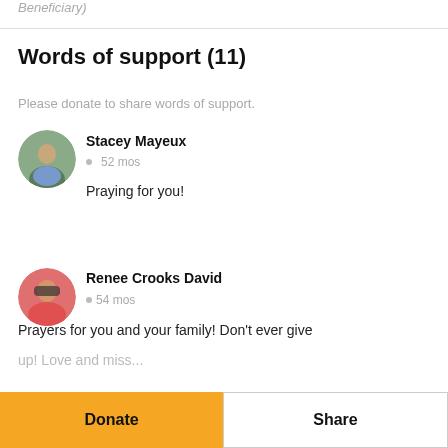Beneficiary
Words of support (11)
Please donate to share words of support.
Stacey Mayeux
• 52 mos

Praying for you!
Renee Crooks David
• 54 mos

Prayers for you and your family! Don't ever give up! Love and miss...